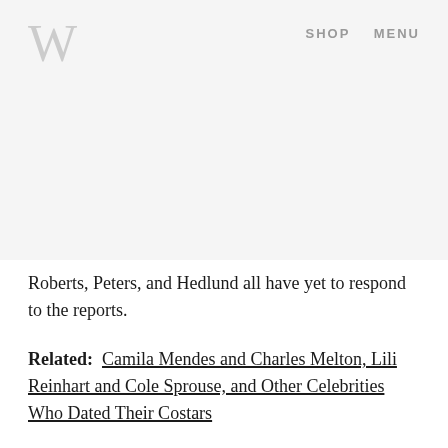W  SHOP  MENU
[Figure (other): Large grey placeholder image area filling the top portion of the page]
Roberts, Peters, and Hedlund all have yet to respond to the reports.
Related: Camila Mendes and Charles Melton, Lili Reinhart and Cole Sprouse, and Other Celebrities Who Dated Their Costars